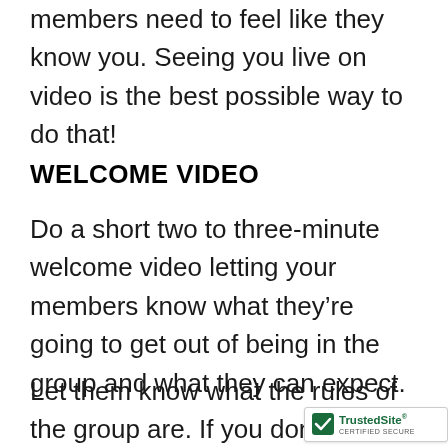members need to feel like they know you. Seeing you live on video is the best possible way to do that!
WELCOME VIDEO
Do a short two to three-minute welcome video letting your members know what they're going to get out of being in the group and what they can expect.
Let them know what the rules of the group are. If you don't allow prospecting, promoting, selling i...